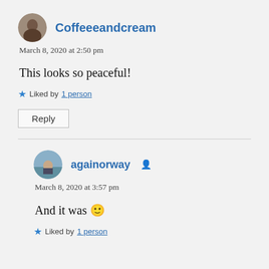Coffeeeandcream
March 8, 2020 at 2:50 pm
This looks so peaceful!
Liked by 1 person
Reply
againorway
March 8, 2020 at 3:57 pm
And it was 🙂
Liked by 1 person